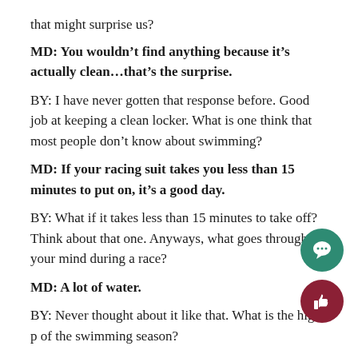that might surprise us?
MD: You wouldn't find anything because it's actually clean…that's the surprise.
BY: I have never gotten that response before. Good job at keeping a clean locker. What is one think that most people don't know about swimming?
MD: If your racing suit takes you less than 15 minutes to put on, it's a good day.
BY: What if it takes less than 15 minutes to take off? Think about that one. Anyways, what goes through your mind during a race?
MD: A lot of water.
BY: Never thought about it like that. What is the high p of the swimming season?